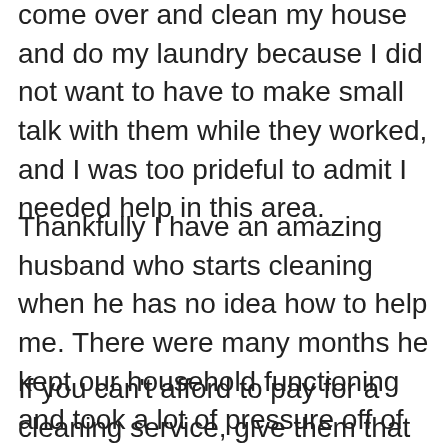come over and clean my house and do my laundry because I did not want to have to make small talk with them while they worked, and I was too prideful to admit I needed help in this area.
Thankfully I have an amazing husband who starts cleaning when he has no idea how to help me. There were many months he kept our household functioning and took a lot of pressure off of me. If your friend lives alone or their partner isn't super clean, chances are they are in dire need of some practical cleaning help.
If you can't afford to pay for a cleaning service, give them that gift card for a coffee shop, send them out of the house, and clean while they are away. For $5 they are getting some alone time